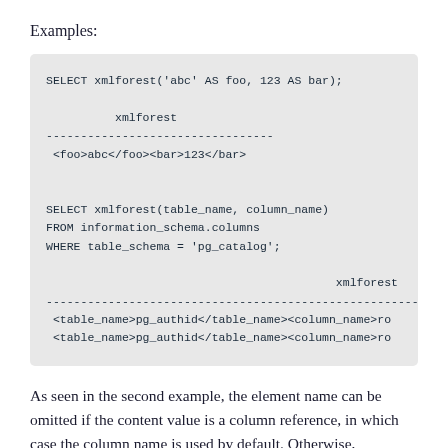Examples:
SELECT xmlforest('abc' AS foo, 123 AS bar);

            xmlforest
-----------------------------------
 <foo>abc</foo><bar>123</bar>


SELECT xmlforest(table_name, column_name)
FROM information_schema.columns
WHERE table_schema = 'pg_catalog';

                                        xmlforest
-----------------------------------------------------------
 <table_name>pg_authid</table_name><column_name>ro
 <table_name>pg_authid</table_name><column_name>ro
As seen in the second example, the element name can be omitted if the content value is a column reference, in which case the column name is used by default. Otherwise,